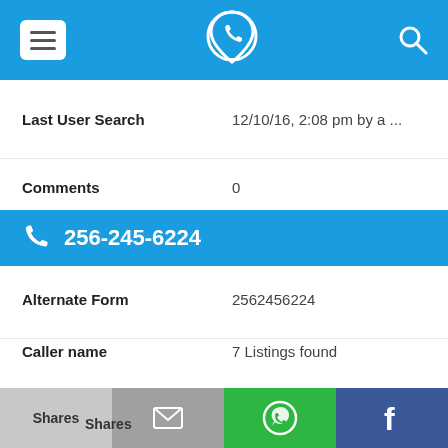[Figure (screenshot): Mobile app top navigation bar with menu icon, phone-location logo, and search icon on blue background]
Last User Search    12/10/16, 2:08 pm by a ...
Comments    0
256-245-6224
Alternate Form    2562456224
Caller name    7 Listings found
Last User Search    12/10/16, 2:08 pm by a ...
Comments    0
Shares